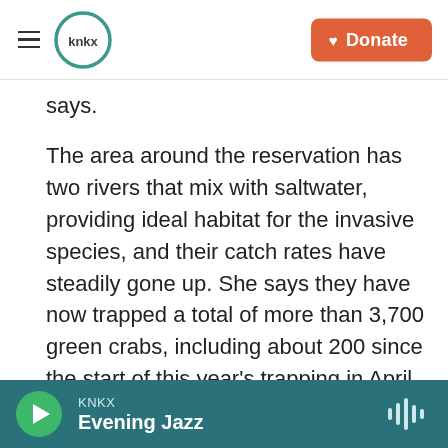KNKX | Donate
says.
The area around the reservation has two rivers that mix with saltwater, providing ideal habitat for the invasive species, and their catch rates have steadily gone up. She says they have now trapped a total of more than 3,700 green crabs, including about 200 since the start of this year’s trapping in April.
[Figure (photo): Close-up blurred photo, dark grey tones, partial view of objects on a surface.]
KNKX Evening Jazz